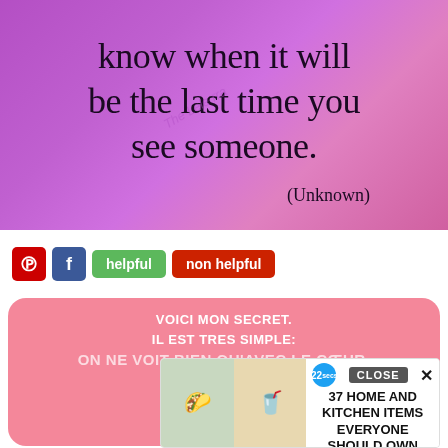[Figure (photo): Purple/magenta gradient background with large dark text reading 'know when it will be the last time you see someone.' with attribution '(Unknown)' and a faint watermark.]
[Figure (screenshot): Social sharing bar with Pinterest (red), Facebook (blue) buttons, and 'helpful' (green) and 'non helpful' (red) buttons.]
[Figure (screenshot): Pink rounded card with white text in French: 'VOICI MON SECRET. IL EST TRES SIMPLE: ON NE VOIT BIEN QU'AVEC LE COEUR.' overlaid by an advertisement showing food/kitchen images and text '37 HOME AND KITCHEN ITEMS EVERYONE SHOULD OWN' with a CLOSE button.]